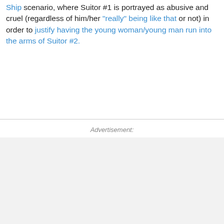Ship scenario, where Suitor #1 is portrayed as abusive and cruel (regardless of him/her "really" being like that or not) in order to justify having the young woman/young man run into the arms of Suitor #2.
Advertisement: